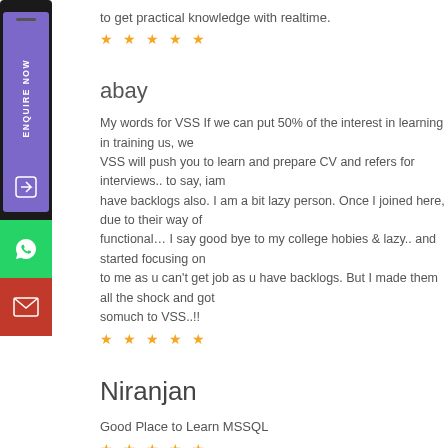to get practical knowledge with realtime.
★ ★ ★ ★ ★
abay
My words for VSS If we can put 50% of the interest in learning in training us, we VSS will push you to learn and prepare CV and refers for interviews.. to say, iam have backlogs also. I am a bit lazy person. Once I joined here, due to their way of functional… I say good bye to my college hobies & lazy.. and started focusing on to me as u can't get job as u have backlogs. But I made them all the shock and got somuch to VSS..!!
★ ★ ★ ★ ★
Niranjan
Good Place to Learn MSSQL
★ ★ ★ ★ ★
ritvik
I completed my ETL training and it was really good. I am satisfied with the